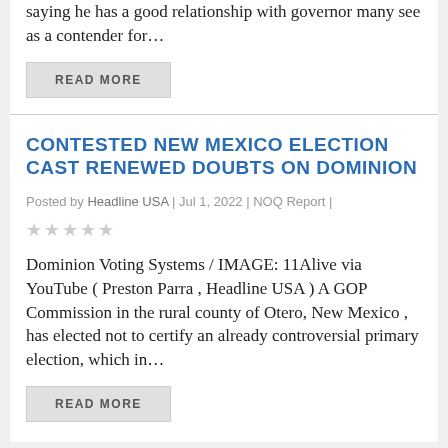saying he has a good relationship with governor many see as a contender for…
READ MORE
CONTESTED NEW MEXICO ELECTION CAST RENEWED DOUBTS ON DOMINION
Posted by Headline USA | Jul 1, 2022 | NOQ Report |
★★★★★
Dominion Voting Systems / IMAGE: 11Alive via YouTube ( Preston Parra , Headline USA ) A GOP Commission in the rural county of Otero, New Mexico , has elected not to certify an already controversial primary election, which in…
READ MORE